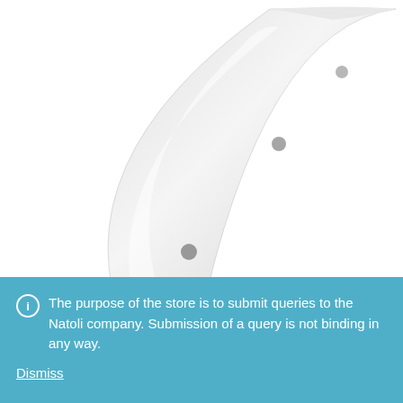[Figure (photo): Close-up photo of a curved metal cam part (KO-0486) — a grey/white arc-shaped component with bolt holes, shown on a white background.]
Cams
KO-0486
The purpose of the store is to submit queries to the Natoli company. Submission of a query is not binding in any way.
Dismiss